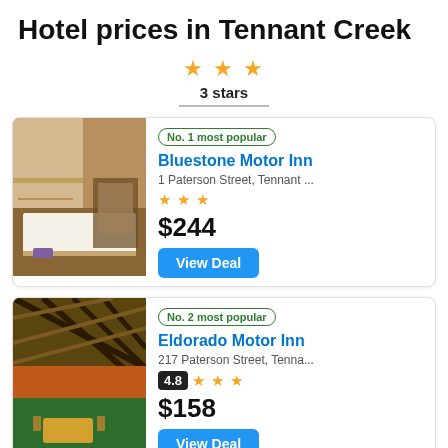Hotel prices in Tennant Creek
★★★ 3 stars
[Figure (photo): Hotel room interior with bed and desk area]
No. 1 most popular
Bluestone Motor Inn
1 Paterson Street, Tennant ...
★★★
$244
View Deal
[Figure (photo): Hotel exterior with lattice roof structure and outdoor area]
No. 2 most popular
Eldorado Motor Inn
217 Paterson Street, Tenna...
4.8 ★★★
$158